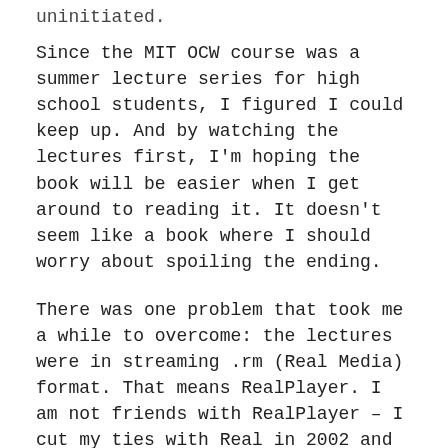uninitiated.
Since the MIT OCW course was a summer lecture series for high school students, I figured I could keep up. And by watching the lectures first, I'm hoping the book will be easier when I get around to reading it. It doesn't seem like a book where I should worry about spoiling the ending.
There was one problem that took me a while to overcome: the lectures were in streaming .rm (Real Media) format. That means RealPlayer. I am not friends with RealPlayer – I cut my ties with Real in 2002 and vowed never to have their software on any of my computers again. If you don't understand my revulsion, just Google "real player sucks" (477,000 hits).